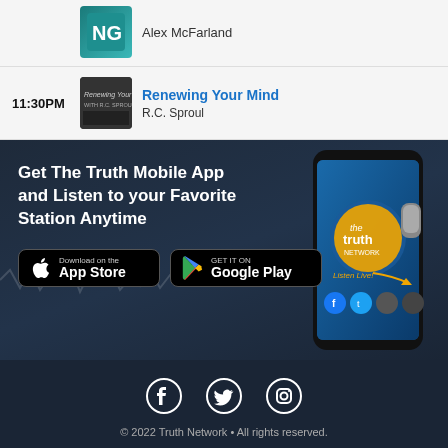Alex McFarland
11:30PM
Renewing Your Mind
R.C. Sproul
[Figure (infographic): Dark navy banner advertising the Truth Mobile App with phone mockup showing the Truth Network app interface, App Store and Google Play download buttons]
Get The Truth Mobile App and Listen to your Favorite Station Anytime
Download on the App Store
GET IT ON Google Play
[Figure (infographic): Social media icons: Facebook, Twitter, Instagram]
© 2022 Truth Network • All rights reserved.